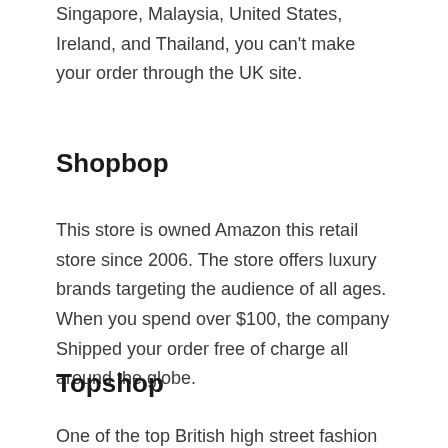Singapore, Malaysia, United States, Ireland, and Thailand, you can't make your order through the UK site.
Shopbop
This store is owned Amazon this retail store since 2006. The store offers luxury brands targeting the audience of all ages. When you spend over $100, the company Shipped your order free of charge all around the globe.
Topshop
One of the top British high street fashion site. It has